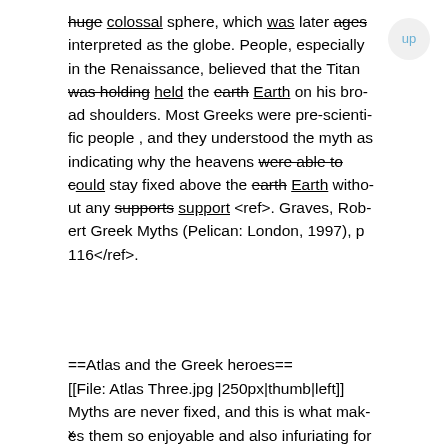huge colossal sphere, which was later ages interpreted as the globe. People, especially in the Renaissance, believed that the Titan was holding held the earth Earth on his broad shoulders. Most Greeks were pre-scientific people , and they understood the myth as indicating why the heavens were able to could stay fixed above the earth Earth without any supports support <ref>. Graves, Robert Greek Myths (Pelican: London, 1997), p 116</ref>.
==Atlas and the Greek heroes==
[[File: Atlas Three.jpg |250px|thumb|left]] Myths are never fixed, and this is what makes them so enjoyable and also infuriating for scholars. Atlas appears in several myths, that were extremely popular among the Gre
x